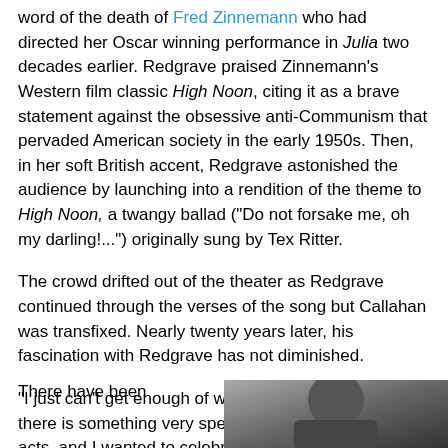word of the death of Fred Zinnemann who had directed her Oscar winning performance in Julia two decades earlier. Redgrave praised Zinnemann's Western film classic High Noon, citing it as a brave statement against the obsessive anti-Communism that pervaded American society in the early 1950s. Then, in her soft British accent, Redgrave astonished the audience by launching into a rendition of the theme to High Noon, a twangy ballad ("Do not forsake me, oh my darling!...") originally sung by Tex Ritter.
The crowd drifted out of the theater as Redgrave continued through the verses of the song but Callahan was transfixed. Nearly twenty years later, his fascination with Redgrave has not diminished.
"I just can't get enough of watching her. I think that there is something very special going on when she acts, and I wanted to celebrate that," Callahan told The Committee Room.
There have been
[Figure (photo): Partial photo visible at bottom right of page, showing a person, mostly cropped.]